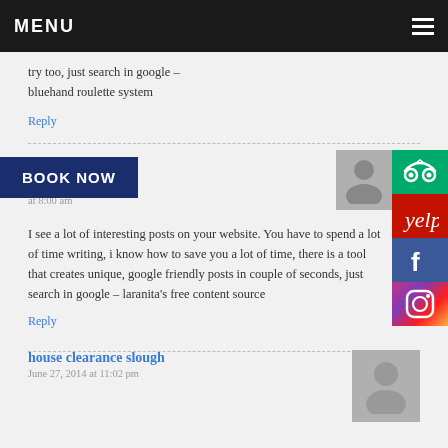MENU
try too, just search in google –
bluehand roulette system
Reply
BOOK NOW
at 8:00 am
I see a lot of interesting posts on your website. You have to spend a lot of time writing, i know how to save you a lot of time, there is a tool that creates unique, google friendly posts in couple of seconds, just search in google – laranita's free content source
Reply
house clearance slough
June 27, 2014 at 11:02 pm
Wow, amazing blog layout! How long have you been blogging for?